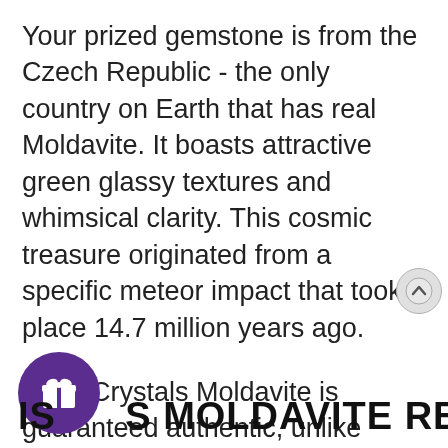Your prized gemstone is from the Czech Republic - the only country on Earth that has real Moldavite. It boasts attractive green glassy textures and whimsical clarity. This cosmic treasure originated from a specific meteor impact that took place 14.7 million years ago.
Satin Crystals Moldavite is guaranteed authentic, unlike many of the factory-made imposters out there. Order it today to become an exclusive owner of limited Moldavite before it is gone.
[Figure (illustration): Purple circular gift icon with a white gift box symbol]
IS THIS MOLDAVITE REAL?